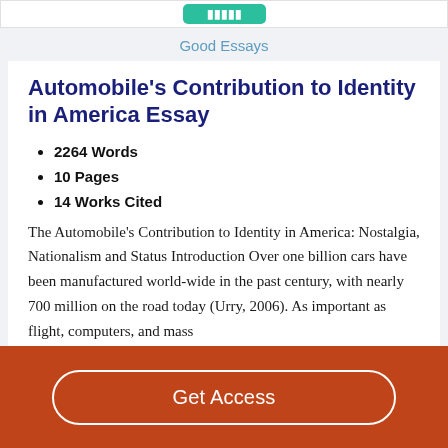Good Essays
Automobile's Contribution to Identity in America Essay
2264 Words
10 Pages
14 Works Cited
The Automobile's Contribution to Identity in America: Nostalgia, Nationalism and Status Introduction Over one billion cars have been manufactured world-wide in the past century, with nearly 700 million on the road today (Urry, 2006). As important as flight, computers, and mass
Get Access